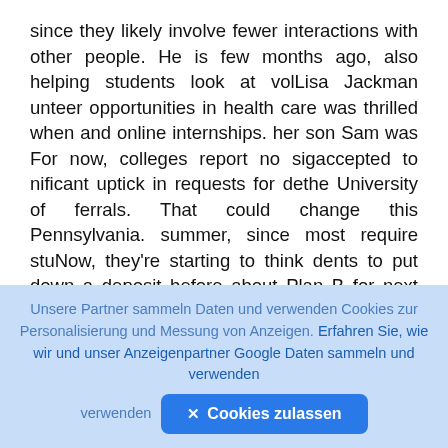since they likely involve fewer interactions with other people. He is few months ago, also helping students look at volLisa Jackman unteer opportunities in health care was thrilled when and online internships. her son Sam was For now, colleges report no sigaccepted to nificant uptick in requests for dethe University of ferrals. That could change this Pennsylvania. summer, since most require stuNow, they're starting to think dents to put down a deposit before about Plan B for next fall. they ask for a deferral and many As a alumna with a daughhave extended the deadline to ter who is a junior there, Ms. JackJune this year. Still, they know man has no doubts about the
[Figure (other): Floating dark rounded button with an up-arrow/navigation icon]
Unsere Partner sammeln Daten und verwenden Cookies zur Personalisierung und Messung von Anzeigen. Erfahren Sie, wie wir und unser Anzeigenpartner Google Daten sammeln und verwenden